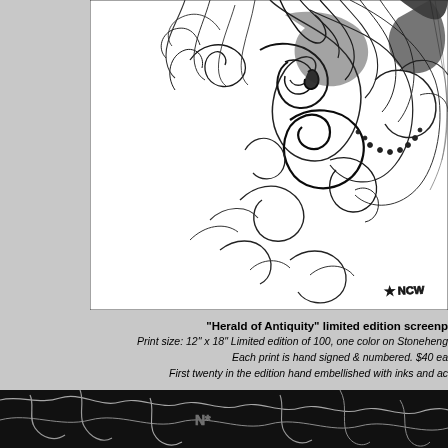[Figure (illustration): Detailed black and white ornate illustration featuring intricate baroque/rococo scrollwork, acanthus leaves, and flowing decorative elements. Artist signature 'NCW' visible in lower right. The artwork is displayed on a white background with a thin border shadow, positioned on a light gray page background.]
"Herald of Antiquity" limited edition screenp...
Print size: 12" x 18" Limited edition of 100, one color on Stoneheng...
Each print is hand signed & numbered. $40 ea...
First twenty in the edition hand embellished with inks and ac...
[Figure (illustration): Bottom strip of another black and white detailed illustration showing similar ornate decorative artwork.]